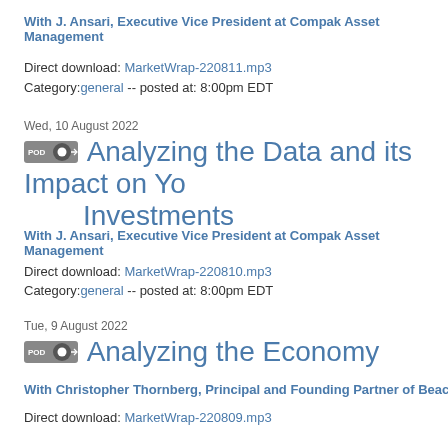With J. Ansari, Executive Vice President at Compak Asset Management
Direct download: MarketWrap-220811.mp3
Category:general -- posted at: 8:00pm EDT
Wed, 10 August 2022
Analyzing the Data and its Impact on Your Investments
With J. Ansari, Executive Vice President at Compak Asset Management
Direct download: MarketWrap-220810.mp3
Category:general -- posted at: 8:00pm EDT
Tue, 9 August 2022
Analyzing the Economy
With Christopher Thornberg, Principal and Founding Partner of Beacon Economic
Direct download: MarketWrap-220809.mp3
Category:general -- posted at: 8:00pm EDT
Mon, 8 August 2022
Is the Market Fighting the Fed?